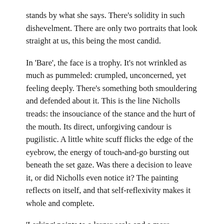stands by what she says. There's solidity in such dishevelment. There are only two portraits that look straight at us, this being the most candid.
In 'Bare', the face is a trophy. It's not wrinkled as much as pummeled: crumpled, unconcerned, yet feeling deeply. There's something both smouldering and defended about it. This is the line Nicholls treads: the insouciance of the stance and the hurt of the mouth. Its direct, unforgiving candour is pugilistic. A little white scuff flicks the edge of the eyebrow, the energy of touch-and-go bursting out beneath the set gaze. Was there a decision to leave it, or did Nicholls even notice it? The painting reflects on itself, and that self-reflexivity makes it whole and complete.
'Larking' points to a larger scale and a more formalist composition. A vigorously abstracted landscape references colour-field painting with big blocks of red and yellow. Despite the violent red around the two figures, there is no real alarm. With a lack of communication or closeness – is it a lockdown painting? The